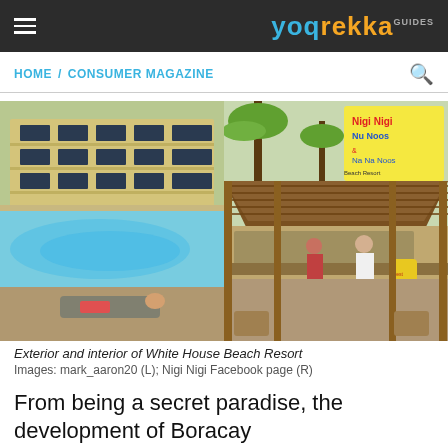yoqrekka
HOME / CONSUMER MAGAZINE
[Figure (photo): Two side-by-side photos: left shows a hotel/resort exterior with a large swimming pool and lounge chairs, a person relaxing on a chair holding a drink; right shows a beachfront tiki bar with thatch roof, signage reading 'Nigi Nigi Nu Noos & Na Na Noos Beach Resort - Sports Bar Nightly', yellow bottle-shaped sign advertising beer, and people standing at the bar.]
Exterior and interior of White House Beach Resort
Images: mark_aaron20 (L); Nigi Nigi Facebook page (R)
From being a secret paradise, the development of Boracay